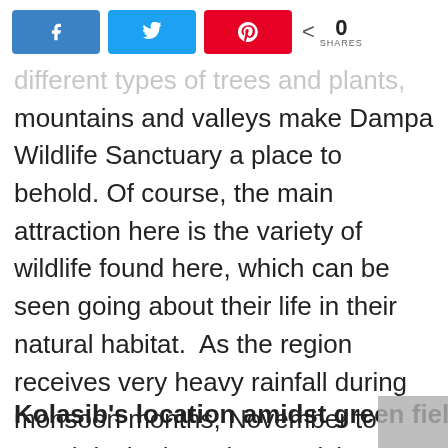[Figure (other): Social media share buttons: Facebook (blue), Twitter (light blue), Pinterest (red), and a share count showing 0 SHARES]
different types of trees and plants, mountains and valleys make Dampa Wildlife Sanctuary a place to behold. Of course, the main attraction here is the variety of wildlife found here, which can be seen going about their life in their natural habitat.  As the region receives very heavy rainfall during monsoon months, November to March is the best time to visit.
Kolasib's location amidst green fields…